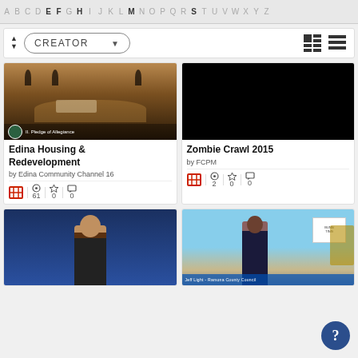A B C D E F G H I J K L M N O P Q R S T U V W X Y Z
CREATOR (dropdown filter)
[Figure (screenshot): Video thumbnail showing a government council chamber meeting room with curved bench and people]
Edina Housing & Redevelopment
by Edina Community Channel 16
Views: 61, Stars: 0, Comments: 0
[Figure (screenshot): Black video thumbnail for Zombie Crawl 2015]
Zombie Crawl 2015
by FCPM
Views: 2, Stars: 0, Comments: 0
[Figure (screenshot): Video thumbnail showing a man in suit against blue background]
[Figure (screenshot): Video thumbnail showing an outdoor scene with a man in suit at an event with yellow construction equipment]